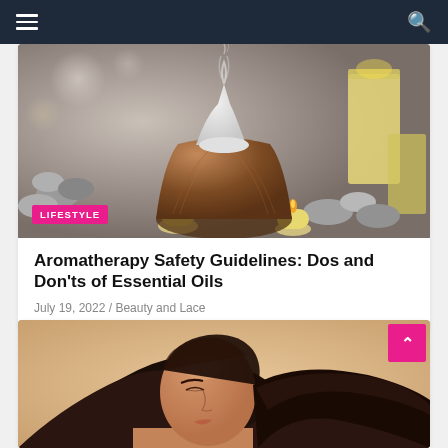Navigation bar with hamburger menu and search icon
[Figure (photo): Aromatherapy essential oil diffuser (wood grain base, white top) with lit candles and smooth stones on a gray background. LIFESTYLE badge overlay.]
Aromatherapy Safety Guidelines: Dos and Don'ts of Essential Oils
July 19, 2022 / Beauty and Lace
[Figure (photo): Woman with dark wavy hair, eyes closed, tilting head back, on a beige/warm background.]